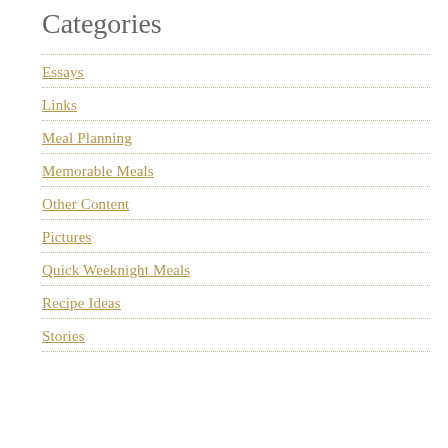Categories
Essays
Links
Meal Planning
Memorable Meals
Other Content
Pictures
Quick Weeknight Meals
Recipe Ideas
Stories